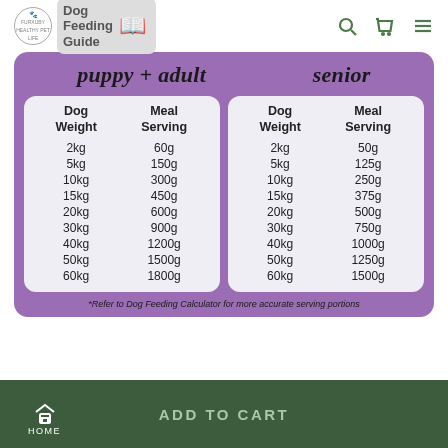Dog Feeding Guide
puppy + adult
senior
| Dog Weight | Meal Serving |
| --- | --- |
| 2kg | 60g |
| 5kg | 150g |
| 10kg | 300g |
| 15kg | 450g |
| 20kg | 600g |
| 30kg | 900g |
| 40kg | 1200g |
| 50kg | 1500g |
| 60kg | 1800g |
| Dog Weight | Meal Serving |
| --- | --- |
| 2kg | 50g |
| 5kg | 125g |
| 10kg | 250g |
| 15kg | 375g |
| 20kg | 500g |
| 30kg | 750g |
| 40kg | 1000g |
| 50kg | 1250g |
| 60kg | 1500g |
*Refer to Dog Feeding Calculator for more accurate serving portions
HOME    ADD TO CART